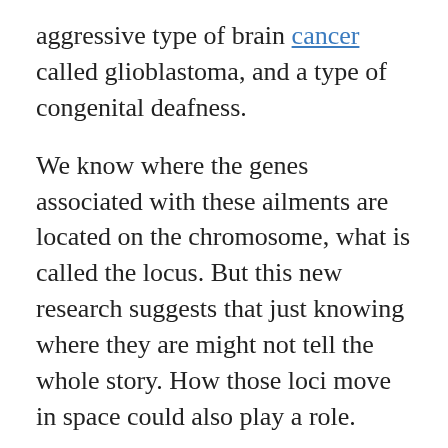aggressive type of brain cancer called glioblastoma, and a type of congenital deafness.
We know where the genes associated with these ailments are located on the chromosome, what is called the locus. But this new research suggests that just knowing where they are might not tell the whole story. How those loci move in space could also play a role.
"Gene expression, one of the most important biological functions of cells, is a dynamic process rather than a static state," said biophysicist Guang Shi of the University of Maryland.
"For every gene to be expressed in human cells, the distant regions of the chromosome must come into contact. When these dynamical